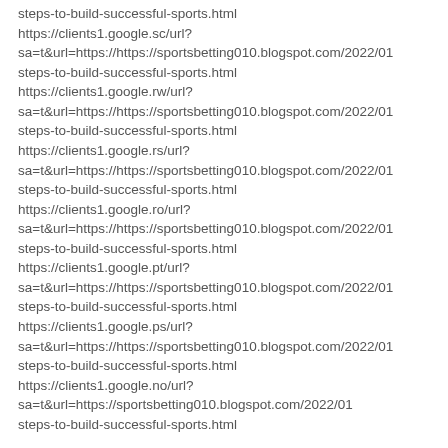steps-to-build-successful-sports.html
https://clients1.google.sc/url?
sa=t&url=https://https://sportsbetting010.blogspot.com/2022/01/steps-to-build-successful-sports.html
https://clients1.google.rw/url?
sa=t&url=https://https://sportsbetting010.blogspot.com/2022/01/steps-to-build-successful-sports.html
https://clients1.google.rs/url?
sa=t&url=https://https://sportsbetting010.blogspot.com/2022/01/steps-to-build-successful-sports.html
https://clients1.google.ro/url?
sa=t&url=https://https://sportsbetting010.blogspot.com/2022/01/steps-to-build-successful-sports.html
https://clients1.google.pt/url?
sa=t&url=https://https://sportsbetting010.blogspot.com/2022/01/steps-to-build-successful-sports.html
https://clients1.google.ps/url?
sa=t&url=https://https://sportsbetting010.blogspot.com/2022/01/steps-to-build-successful-sports.html
https://clients1.google.no/url?
sa=t&url=https://sportsbetting010.blogspot.com/2022/01/steps-to-build-successful-sports.html